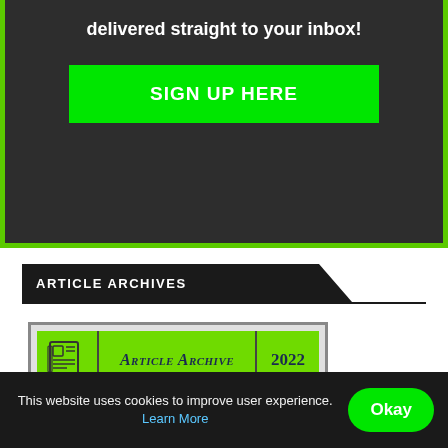delivered straight to your inbox!
SIGN UP HERE
ARTICLE ARCHIVES
Article Archive | 2022
Article Archive | 2021
Article Archive | 2020
This website uses cookies to improve user experience. Learn More  Okay